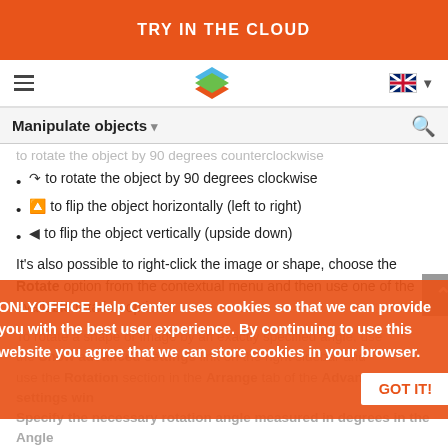TRY IN THE CLOUD
[Figure (logo): OnlyOffice stacked layers logo and navigation bar with hamburger menu and language selector]
Manipulate objects
to rotate the object by 90 degrees clockwise
to flip the object horizontally (left to right)
to flip the object vertically (upside down)
It's also possible to right-click the image or shape, choose the Rotate option from the contextual menu and then use one of the available rotation options.
To rotate a shape or image by an exactly specified angle, use the Show advanced settings link on the right sidebar and use the Rotation section in the Arrange tab of the Advanced settings window. Specify the necessary rotation angle measured in degrees in the Angle field and click OK.
Reshape autoshapes